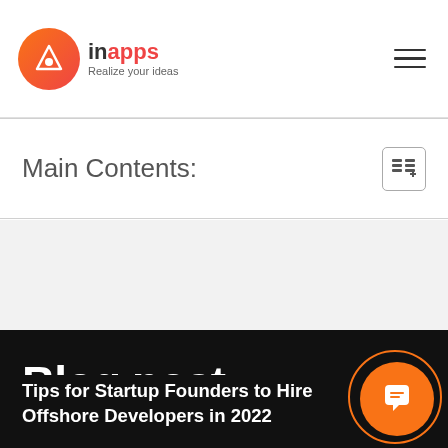inapps - Realize your ideas
Main Contents:
[Figure (other): Gray content area placeholder]
Blog post
Tips for Startup Founders to Hire Offshore Developers in 2022